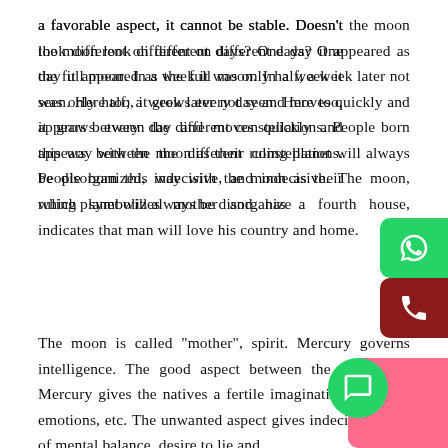a favorable aspect, it cannot be stable. Doesn't the moon look different on different days? One day it appeared as the full moon. In a week it was only half; a week later not seen. Here too, it grows every day and moves quickly and appears between the different constellations. People born this way with the moon as their ruling planet will always be disorganized, indecisive, and indecisive. The moon, which symbolizes mother and has a fourth house, indicates that man will love his country and home.
The moon is called "mother", spirit. Mercury governs intelligence. The good aspect between the Moon and Mercury gives the natives a fertile imagination, feelings, emotions, etc. The unwanted aspect gives indecision, lack of mental balance, desire to lie and